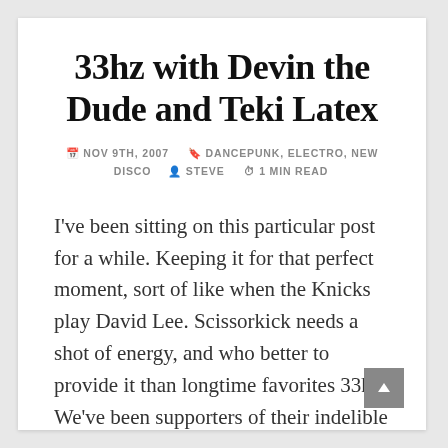33hz with Devin the Dude and Teki Latex
NOV 9TH, 2007  DANCEPUNK, ELECTRO, NEW DISCO  STEVE  1 MIN READ
I've been sitting on this particular post for a while. Keeping it for that perfect moment, sort of like when the Knicks play David Lee. Scissorkick needs a shot of energy, and who better to provide it than longtime favorites 33hz. We've been supporters of their indelible brand of